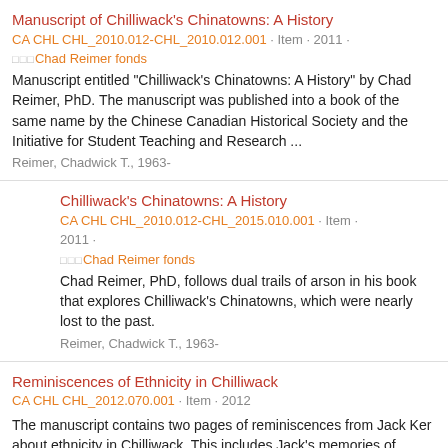Manuscript of Chilliwack's Chinatowns: A History
CA CHL CHL_2010.012-CHL_2010.012.001 · Item · 2011 · □□□Chad Reimer fonds
Manuscript entitled "Chilliwack's Chinatowns: A History" by Chad Reimer, PhD. The manuscript was published into a book of the same name by the Chinese Canadian Historical Society and the Initiative for Student Teaching and Research ...
Reimer, Chadwick T., 1963-
Chilliwack's Chinatowns: A History
CA CHL CHL_2010.012-CHL_2015.010.001 · Item · 2011 · □□□Chad Reimer fonds
Chad Reimer, PhD, follows dual trails of arson in his book that explores Chilliwack's Chinatowns, which were nearly lost to the past.
Reimer, Chadwick T., 1963-
Reminiscences of Ethnicity in Chilliwack
CA CHL CHL_2012.070.001 · Item · 2012
The manuscript contains two pages of reminiscences from Jack Ker about ethnicity in Chilliwack. This includes Jack's memories of Chinese, Japanese, Sikh, Roman Catholic and Anglican